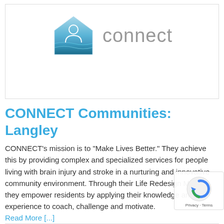[Figure (logo): CONNECT logo: house/home icon in blue gradient with a person silhouette inside, next to the word 'connect' in gray]
CONNECT Communities: Langley
CONNECT’s mission is to “Make Lives Better.” They achieve this by providing complex and specialized services for people living with brain injury and stroke in a nurturing and innovative community environment. Through their Life Redesign Model, they empower residents by applying their knowledge and experience to coach, challenge and motivate
Read More [...]